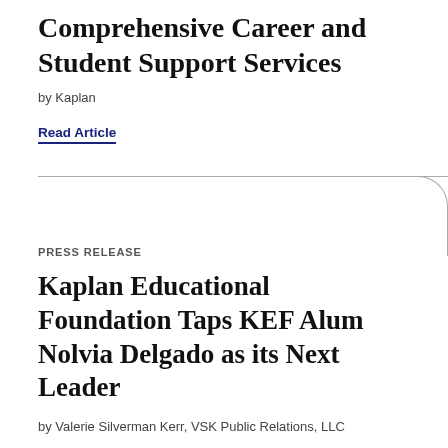Comprehensive Career and Student Support Services
by Kaplan
Read Article
PRESS RELEASE
Kaplan Educational Foundation Taps KEF Alum Nolvia Delgado as its Next Leader
by Valerie Silverman Kerr, VSK Public Relations, LLC
Read Article